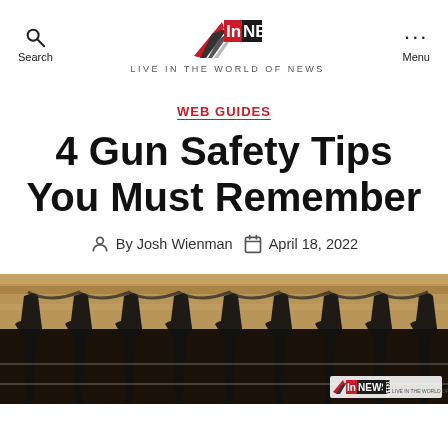InNews Weekly — LIVE IN THE WORLD OF NEWS
WEB GUIDES
4 Gun Safety Tips You Must Remember
By Josh Wienman  April 18, 2022
[Figure (photo): Close-up photograph of multiple rifles/guns racked together on a wooden gun rack, showing dark metal barrels and straps against a light background. InNews Weekly watermark logo in bottom-right corner.]